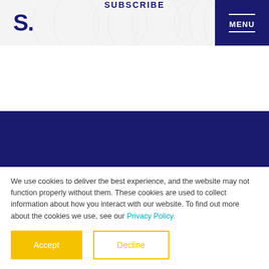S. SUBSCRIBE MENU
[Figure (illustration): Dark navy blue band occupying the middle-lower section of the page, with a white circular logo/icon partially visible at the bottom-left corner]
We use cookies to deliver the best experience, and the website may not function properly without them. These cookies are used to collect information about how you interact with our website. To find out more about the cookies we use, see our Privacy Policy.
Accept  Decline